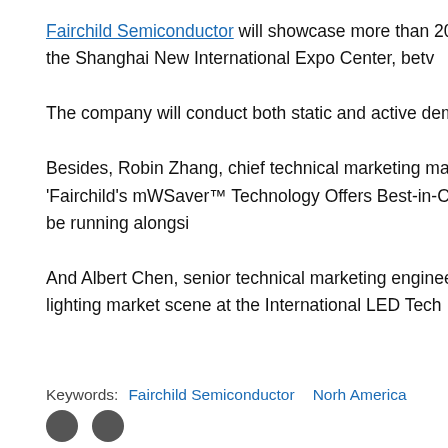Fairchild Semiconductor will showcase more than 20 innovative solutions for energy efficiency at the electronica China 2011 show, in the Shanghai New International Expo Center, between...
The company will conduct both static and active demonstrations on LED lighting, ... control.
Besides, Robin Zhang, chief technical marketing manager, Technical Application at Fairchild Semiconductor will present, 'Fairchild's mWSSaver™ Technology Offers Best-in-C...' at the International Power Electronics Innovation Forum that will be running alongsi...
And Albert Chen, senior technical marketing engineer, will present, 'LED Lighting...' developments surrounding the lighting market scene at the International LED Tech...
Keywords:  Fairchild Semiconductor   Norh America